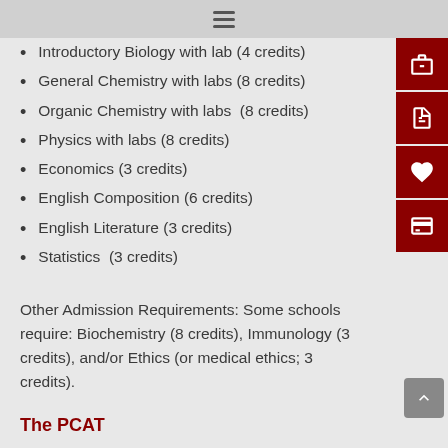Microbiology with lab (4 credits)
Introductory Biology with lab (4 credits)
General Chemistry with labs (8 credits)
Organic Chemistry with labs  (8 credits)
Physics with labs (8 credits)
Economics (3 credits)
English Composition (6 credits)
English Literature (3 credits)
Statistics  (3 credits)
Other Admission Requirements: Some schools require: Biochemistry (8 credits), Immunology (3 credits), and/or Ethics (or medical ethics; 3 credits).
The PCAT